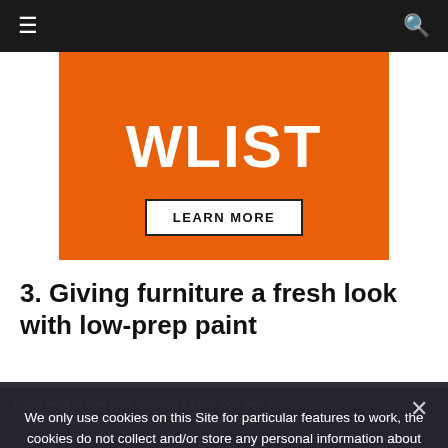Navigation bar with hamburger menu and search icon
[Figure (illustration): Orange advertisement banner with 'WLIST' text in white and a 'LEARN MORE' button]
3. Giving furniture a fresh look with low-prep paint
Body text partially visible behind dark overlay
We only use cookies on this Site for particular features to work, the cookies do not collect and/or store any personal information about you.